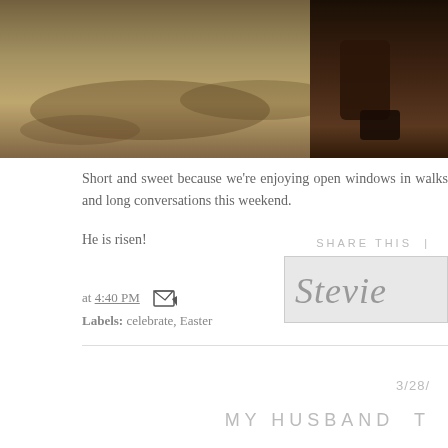[Figure (photo): Cropped photo showing boots/shoes on a gravelly ground surface with autumn leaves, taken from above.]
Short and sweet because we're enjoying open windows in walks and long conversations this weekend.
He is risen!
[Figure (illustration): Cursive script signature reading 'Stevie' on a light gray background box.]
SHARE THIS |
at 4:40 PM [email icon]
Labels: celebrate, Easter
3/28/
MY HUSBAND T